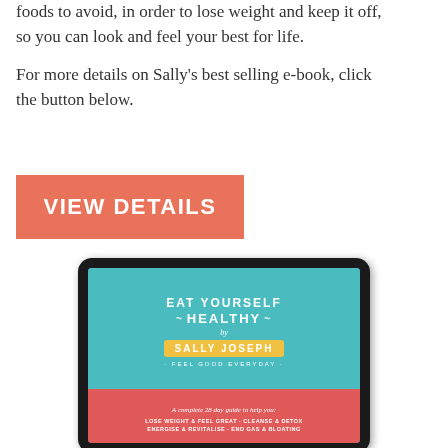foods to avoid, in order to lose weight and keep it off, so you can look and feel your best for life.

For more details on Sally's best selling e-book, click the button below.
[Figure (other): A salmon/coral colored rectangular button with white bold uppercase text reading 'VIEW DETAILS']
[Figure (illustration): A tablet device displaying an e-book cover for 'Eat Yourself Healthy by Sally Joseph - Feel Good Everyday'. The cover has a teal upper section and a red/coral lower section. The lower section reads 'A complete 28 day guide to help you: Lose Weight & Feel Great · Cleanse & Detox, Energise & Revitalise · End Gas & Bloating']